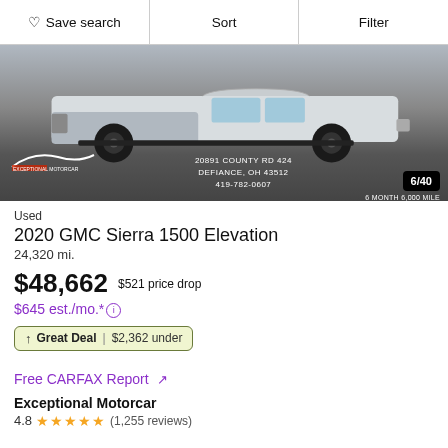Save search | Sort | Filter
[Figure (photo): Side view of a white 2020 GMC Sierra 1500 pickup truck with black wheels, shown on a dealer lot. Dealer overlay shows: 20891 COUNTY RD 424, DEFIANCE, OH 43512, 419-782-0607. Badge shows 6/40. Text: 6 MONTH 6,000 MILE.]
Used
2020 GMC Sierra 1500 Elevation
24,320 mi.
$48,662  $521 price drop
$645 est./mo.* ⓘ
↑ Great Deal | $2,362 under
Free CARFAX Report ↗
Exceptional Motorcar
4.8 ★★★★★ (1,255 reviews)